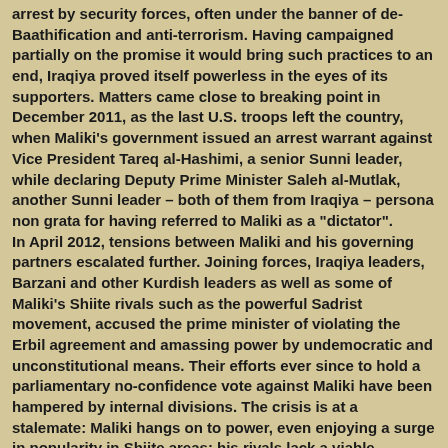arrest by security forces, often under the banner of de-Baathification and anti-terrorism. Having campaigned partially on the promise it would bring such practices to an end, Iraqiya proved itself powerless in the eyes of its supporters. Matters came close to breaking point in December 2011, as the last U.S. troops left the country, when Maliki's government issued an arrest warrant against Vice President Tareq al-Hashimi, a senior Sunni leader, while declaring Deputy Prime Minister Saleh al-Mutlak, another Sunni leader – both of them from Iraqiya – persona non grata for having referred to Maliki as a "dictator". In April 2012, tensions between Maliki and his governing partners escalated further. Joining forces, Iraqiya leaders, Barzani and other Kurdish leaders as well as some of Maliki's Shiite rivals such as the powerful Sadrist movement, accused the prime minister of violating the Erbil agreement and amassing power by undemocratic and unconstitutional means. Their efforts ever since to hold a parliamentary no-confidence vote against Maliki have been hampered by internal divisions. The crisis is at a stalemate: Maliki hangs on to power, even enjoying a surge in popularity in Shiite areas; his rivals lack a viable strategy to unseat him until the next parliamentary elections, which should take place in 2014. This, they fear, leaves plenty of time for the prime minister to further consolidate his hold over the security forces and carry out further repression to achieve the kind of parliamentary majority in the next elections that has eluded him so far. An emboldened prime minister, growing sectarian tensions and a